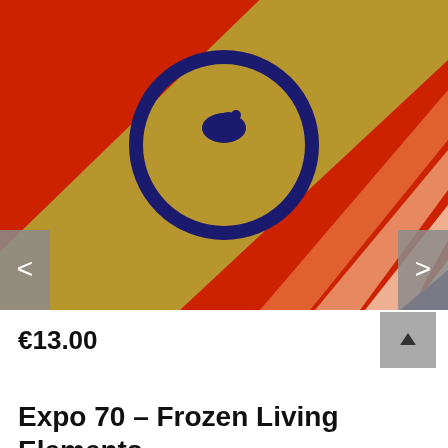[Figure (illustration): Retro poster artwork with red background, diagonal gold/tan and orange stripes, a dark navy blue circle containing a gold sun/swan emblem in the center]
€13.00
Expo 70 – Frozen Living Elements